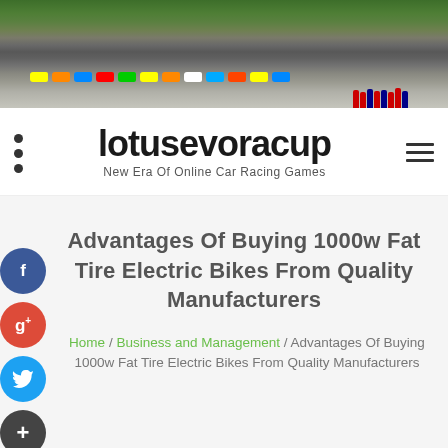[Figure (photo): Aerial/wide-angle photo of a motorsport racing event with colorful cars lined up on a track and people in red, blue uniforms gathered around.]
lotusevoracup
New Era Of Online Car Racing Games
Advantages Of Buying 1000w Fat Tire Electric Bikes From Quality Manufacturers
Home / Business and Management / Advantages Of Buying 1000w Fat Tire Electric Bikes From Quality Manufacturers